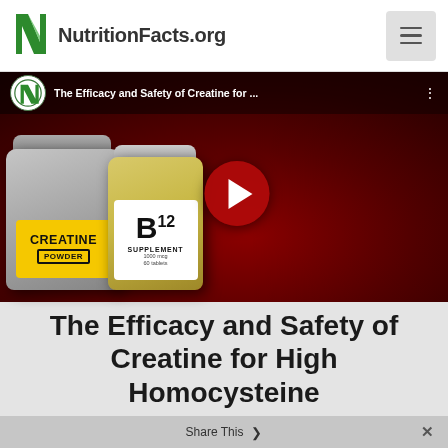NutritionFacts.org
[Figure (screenshot): YouTube video thumbnail for 'The Efficacy and Safety of Creatine for...' showing creatine powder and B12 supplement bottles against a red background, with a man in a suit, and a red YouTube play button in the center.]
The Efficacy and Safety of Creatine for High Homocysteine